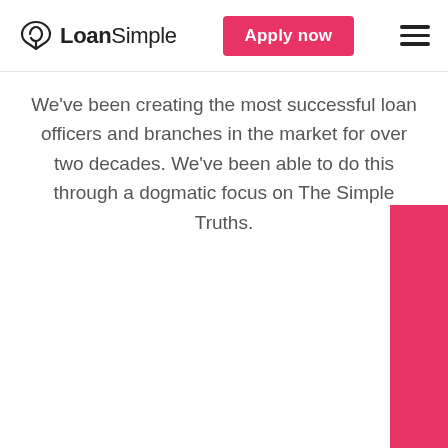LoanSimple — Apply now
We've been creating the most successful loan officers and branches in the market for over two decades. We've been able to do this through a dogmatic focus on The Simple Truths.
[Figure (other): Pink/red vertical bar decorative element on the right side of the page]